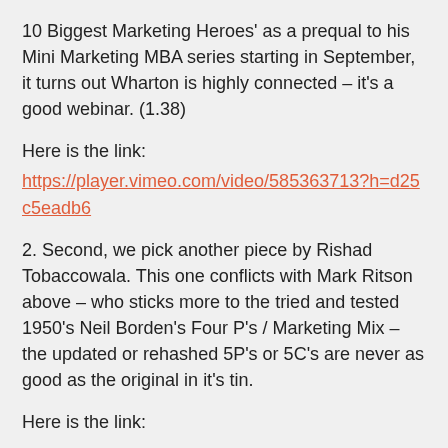10 Biggest Marketing Heroes' as a prequal to his Mini Marketing MBA series starting in September, it turns out Wharton is highly connected – it's a good webinar. (1.38)
Here is the link:
https://player.vimeo.com/video/585363713?h=d25c5eadb6
2. Second, we pick another piece by Rishad Tobaccowala. This one conflicts with Mark Ritson above – who sticks more to the tried and tested 1950's Neil Borden's Four P's / Marketing Mix – the updated or rehashed 5P's or 5C's are never as good as the original in it's tin.
Here is the link: